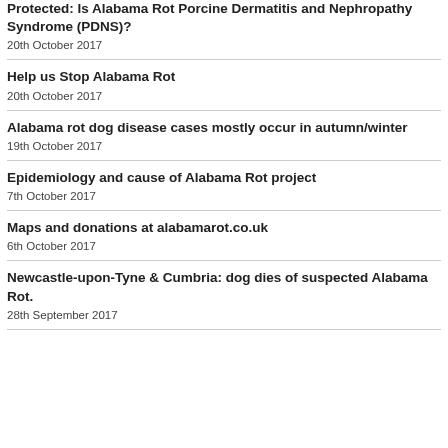Protected: Is Alabama Rot Porcine Dermatitis and Nephropathy Syndrome (PDNS)?
20th October 2017
Help us Stop Alabama Rot
20th October 2017
Alabama rot dog disease cases mostly occur in autumn/winter
19th October 2017
Epidemiology and cause of Alabama Rot project
7th October 2017
Maps and donations at alabamarot.co.uk
6th October 2017
Newcastle-upon-Tyne & Cumbria: dog dies of suspected Alabama Rot.
28th September 2017